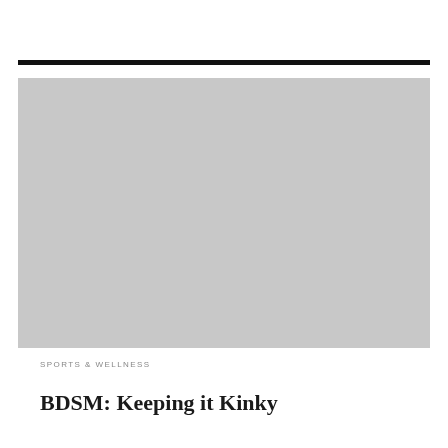[Figure (photo): Large gray placeholder image block]
SPORTS & WELLNESS
BDSM: Keeping it Kinky